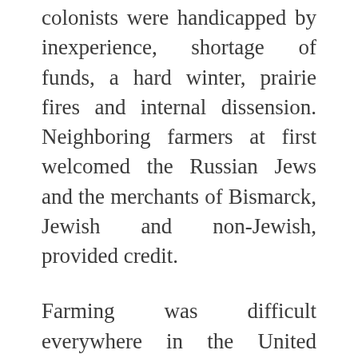colonists were handicapped by inexperience, shortage of funds, a hard winter, prairie fires and internal dissension. Neighboring farmers at first welcomed the Russian Jews and the merchants of Bismarck, Jewish and non-Jewish, provided credit.
Farming was difficult everywhere in the United States for Jewish immigrants. The winter of 1882-83 was particularly severe in the Dakotas. The cold was so intense that the kerosene would freeze in the lamps, and one's very breath would congeal on the pillow at night. Severe blizzards raged that winter.